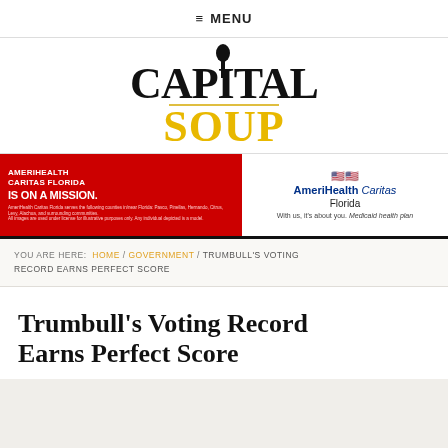≡ MENU
[Figure (logo): Capital Soup logo with spoon icon above the letter I in CAPITAL, SOUP in yellow]
[Figure (infographic): AmeriHealth Caritas Florida advertisement banner: red left side with text 'AMERIHEALTH CARITAS FLORIDA IS ON A MISSION.' and white right side with AmeriHealth Caritas Florida logo and tagline 'With us, it's about you. Medicaid health plan']
YOU ARE HERE: HOME / GOVERNMENT / TRUMBULL'S VOTING RECORD EARNS PERFECT SCORE
Trumbull's Voting Record Earns Perfect Score